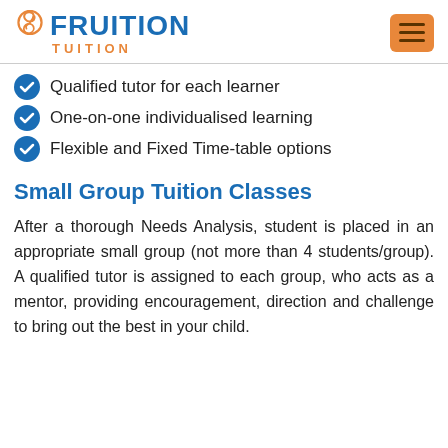[Figure (logo): Fruition Tuition logo with spiral icon in orange and blue text]
Qualified tutor for each learner
One-on-one individualised learning
Flexible and Fixed Time-table options
Small Group Tuition Classes
After a thorough Needs Analysis, student is placed in an appropriate small group (not more than 4 students/group). A qualified tutor is assigned to each group, who acts as a mentor, providing encouragement, direction and challenge to bring out the best in your child.